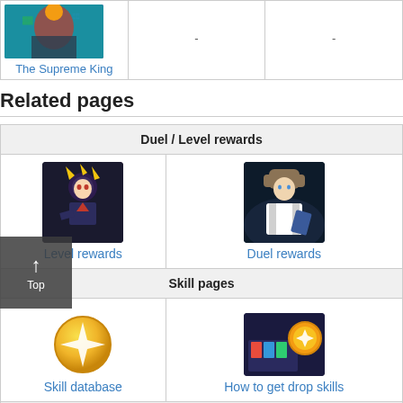| Character | Col2 | Col3 |
| --- | --- | --- |
| The Supreme King | - | - |
Related pages
| Duel / Level rewards |
| --- |
| Level rewards | Duel rewards |
| Skill pages |  |
| Skill database | How to get drop skills |
| Accessories |
| --- |
Card Sleeves & Game Mats